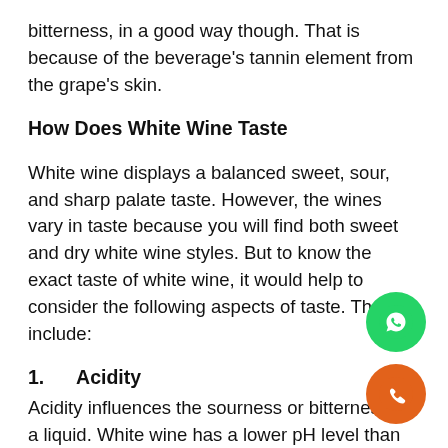bitterness, in a good way though. That is because of the beverage's tannin element from the grape's skin.
How Does White Wine Taste
White wine displays a balanced sweet, sour, and sharp palate taste. However, the wines vary in taste because you will find both sweet and dry white wine styles. But to know the exact taste of white wine, it would help to consider the following aspects of taste. They include:
1.      Acidity
Acidity influences the sourness or bitterness of a liquid. White wine has a lower pH level than wine, making it have a higher acidity level. Therefore, the hint of a sour and citric taste in a white wine comes because it is acidic.
[Figure (other): WhatsApp contact button (green circle with WhatsApp icon)]
[Figure (other): Phone call button (orange circle with phone icon)]